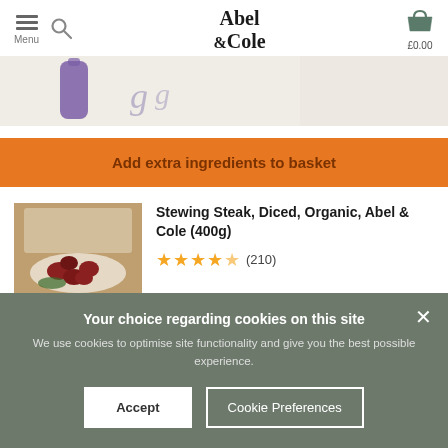Abel & Cole — Menu, Search, Basket £0.00
[Figure (screenshot): Partial banner image with purple graphic element on cream background]
Add extra ingredients to basket
[Figure (photo): Photo of diced organic stewing steak on a wooden board with white plate]
Stewing Steak, Diced, Organic, Abel & Cole (400g)
★★★★★ (210)
Your choice regarding cookies on this site
We use cookies to optimise site functionality and give you the best possible experience.
Accept
Cookie Preferences